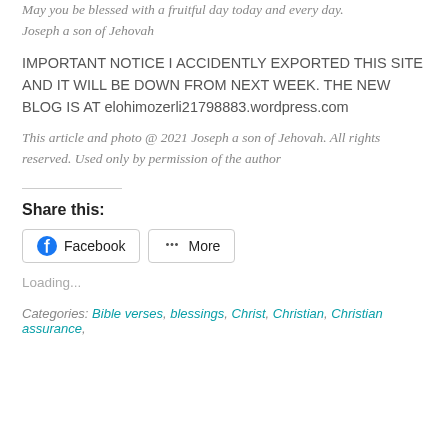May you be blessed with a fruitful day today and every day. Joseph a son of Jehovah
IMPORTANT NOTICE I ACCIDENTLY EXPORTED THIS SITE AND IT WILL BE DOWN FROM NEXT WEEK. THE NEW BLOG IS AT elohimozerli21798883.wordpress.com
This article and photo @ 2021 Joseph a son of Jehovah. All rights reserved. Used only by permission of the author
Share this:
Loading...
Categories: Bible verses, blessings, Christ, Christian, Christian assurance,